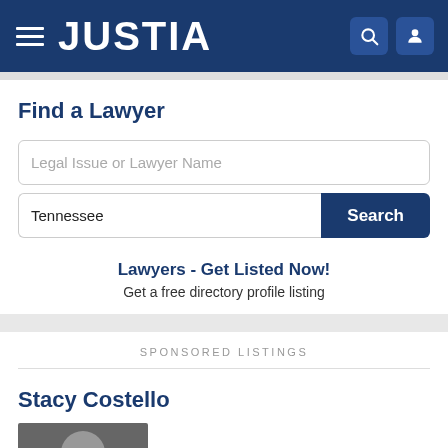JUSTIA
Find a Lawyer
Legal Issue or Lawyer Name
Tennessee
Search
Lawyers - Get Listed Now!
Get a free directory profile listing
SPONSORED LISTINGS
Stacy Costello
[Figure (photo): Headshot photo of Stacy Costello, grayscale]
(703) 883-0102